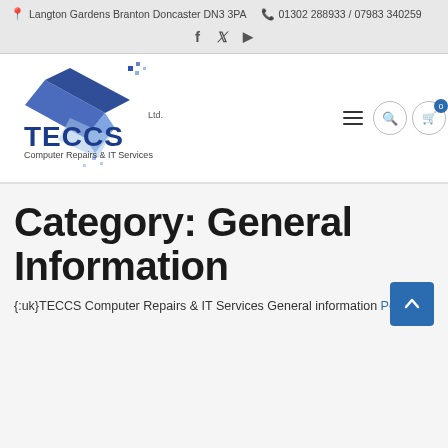Langton Gardens Branton Doncaster DN3 3PA  |  01302 288933 / 07983 340259
[Figure (logo): TECCS Ltd. Computer Repairs & IT Services logo with blue angular geometric shape and text]
Category: General Information
{:uk}TECCS Computer Repairs & IT Services General information Posts{:}